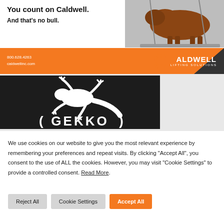[Figure (illustration): Caldwell Lifting Solutions advertisement showing a bull standing on a lifting platform with chains, with orange branding bar, phone number 800.628.4263, caldwellinc.com, and Caldwell logo]
[Figure (logo): Gekko logo on dark background with white gecko silhouette and GEKKO text]
We use cookies on our website to give you the most relevant experience by remembering your preferences and repeat visits. By clicking "Accept All", you consent to the use of ALL the cookies. However, you may visit "Cookie Settings" to provide a controlled consent. Read More.